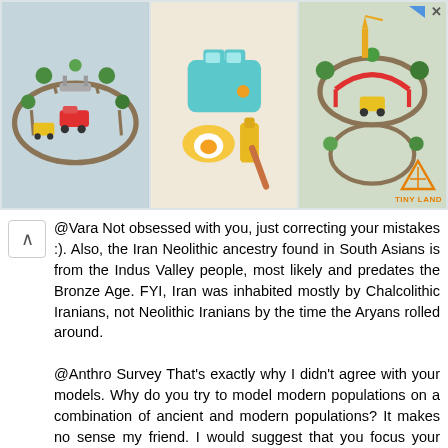[Figure (photo): Advertisement banner showing three toy product images (wooden train set, play food/toaster set, another train track set) with Tiny Land logo]
@Vara Not obsessed with you, just correcting your mistakes :). Also, the Iran Neolithic ancestry found in South Asians is from the Indus Valley people, most likely and predates the Bronze Age. FYI, Iran was inhabited mostly by Chalcolithic Iranians, not Neolithic Iranians by the time the Aryans rolled around.

@Anthro Survey That's exactly why I didn't agree with your models. Why do you try to model modern populations on a combination of ancient and modern populations? It makes no sense my friend. I would suggest that you focus your time and effort on something else, and let the professionals, i.e. Davidski, handle admixture models. Your models are just weird and plain confusing. No one models modern populations on a combination of ancients and moderns.
Reply